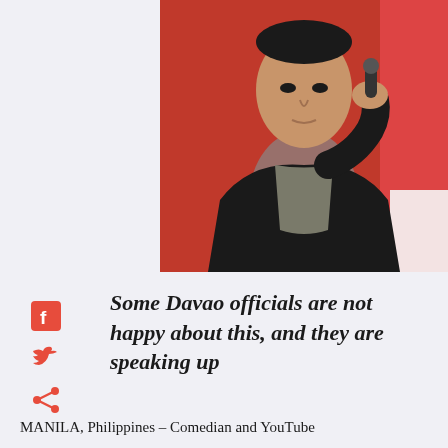[Figure (photo): A man in a dark blazer holding a microphone to his chin, against a red background]
Some Davao officials are not happy about this, and they are speaking up
MANILA, Philippines – Comedian and YouTube